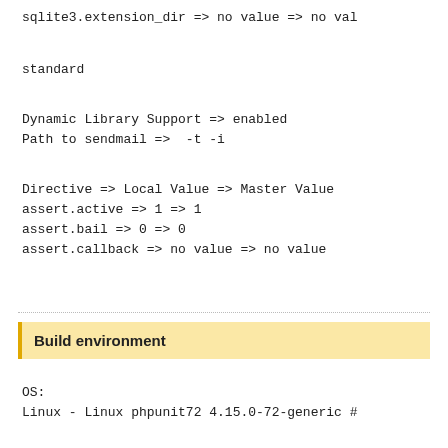sqlite3.extension_dir => no value => no val
standard
Dynamic Library Support => enabled
Path to sendmail =>  -t -i
Directive => Local Value => Master Value
assert.active => 1 => 1
assert.bail => 0 => 0
assert.callback => no value => no value
Build environment
OS:
Linux - Linux phpunit72 4.15.0-72-generic #